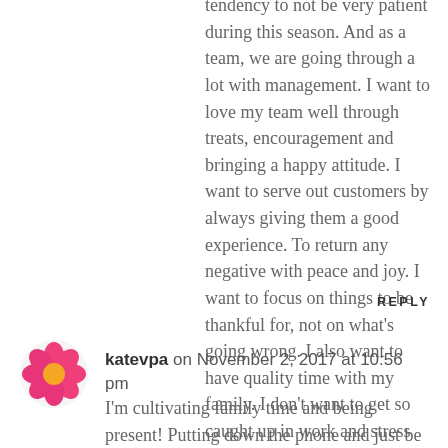tendency to not be very patient during this season. And as a team, we are going through a lot with management. I want to love my team well through treats, encouragement and bringing a happy attitude. I want to serve out customers by always giving them a good experience. To return any negative with peace and joy. I want to focus on things to be thankful for, not on what's going wrong. I also want to have quality time with my family. I don't want to get so caught up in work and stress that I neglect them.
REPLY
[Figure (illustration): Pink flower avatar icon for commenter katevpa]
katevpa on November 2, 2017 at 10:56 pm
I'm cultivating family time and being present! Putting down the phone and just be with my kids and my husband.